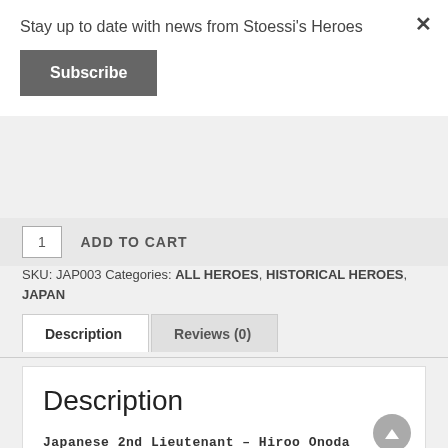Stay up to date with news from Stoessi's Heroes
Subscribe
ADD TO CART
SKU: JAP003 Categories: ALL HEROES, HISTORICAL HEROES, JAPAN
Description
Reviews (0)
Description
Japanese 2nd Lieutenant – Hiroo Onoda